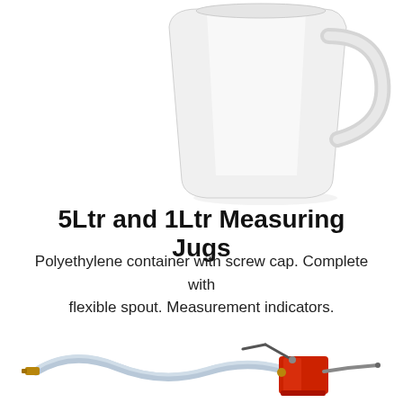[Figure (photo): A white translucent polyethylene measuring jug with a handle, photographed against a white background. The jug is wide at the top and narrows toward the bottom.]
5Ltr and 1Ltr Measuring Jugs
Polyethylene container with screw cap. Complete with flexible spout. Measurement indicators.
[Figure (photo): A red metal pump/oil can with a flexible grey hose and brass nozzle, photographed against a white background. The pump has a lever mechanism and a curved flexible spout.]